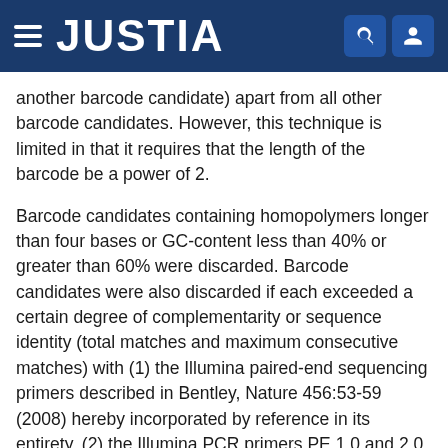JUSTIA
another barcode candidate) apart from all other barcode candidates. However, this technique is limited in that it requires that the length of the barcode be a power of 2.
Barcode candidates containing homopolymers longer than four bases or GC-content less than 40% or greater than 60% were discarded. Barcode candidates were also discarded if each exceeded a certain degree of complementarity or sequence identity (total matches and maximum consecutive matches) with (1) the Illumina paired-end sequencing primers described in Bentley, Nature 456:53-59 (2008) hereby incorporated by reference in its entirety, (2) the Illumina PCR primers PE 1.0 and 2.0, (3) the 3' end of the Illumina PCR primers PE 1.0 and 2.0, (4) the whole E. coli genome [K-12 MG1655 strain (U00096.2)], and (5) all other generated barcode